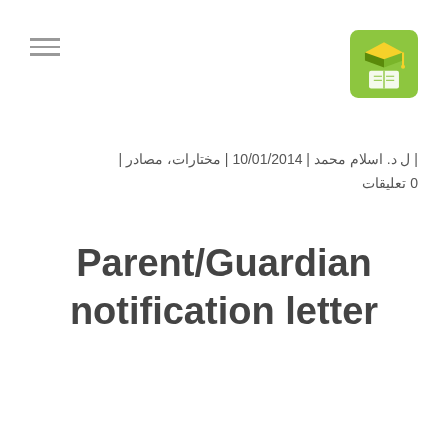| ل د. اسلام محمد | 10/01/2014 | مختارات، مصادر | 0 تعليقات
Parent/Guardian notification letter